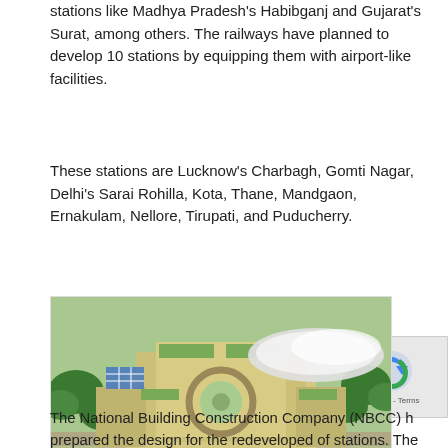stations like Madhya Pradesh's Habibganj and Gujarat's Surat, among others. The railways have planned to develop 10 stations by equipping them with airport-like facilities.
These stations are Lucknow's Charbagh, Gomti Nagar, Delhi's Sarai Rohilla, Kota, Thane, Mandgaon, Ernakulam, Nellore, Tirupati, and Puducherry.
[Figure (photo): Aerial view rendering of Gomati Nagar Station redevelopment — a modern complex with circular structures, green roofs, wide roadways, and a large white canopy/roof structure over the main terminal.]
Gomati Nagar Station
The National Building Construction Company (NBCC) has prepared the design for the redeveloped of stations. The